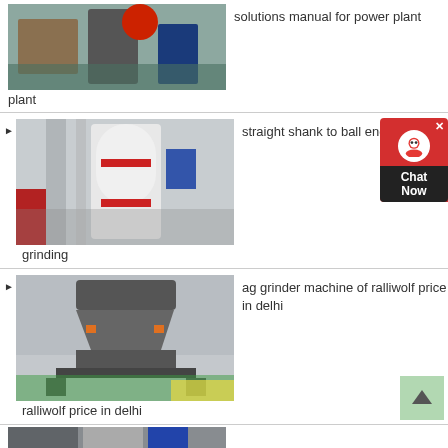[Figure (photo): Industrial machinery/crusher equipment in a factory setting]
solutions manual for power plant
[Figure (photo): Large vertical grinding mill machine in industrial facility]
straight shank to ball end grinding
[Figure (photo): ag grinder machine / cone crusher in factory]
ag grinder machine of ralliwolf price in delhi
[Figure (photo): Bottom partially visible industrial equipment photo]